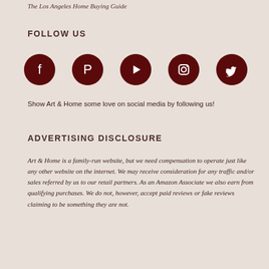The Los Angeles Home Buying Guide
FOLLOW US
[Figure (illustration): Five social media icons (Facebook, Pinterest, YouTube, Instagram, Twitter) displayed as white icons on dark red circular backgrounds.]
Show Art & Home some love on social media by following us!
ADVERTISING DISCLOSURE
Art & Home is a family-run website, but we need compensation to operate just like any other website on the internet. We may receive consideration for any traffic and/or sales referred by us to our retail partners. As an Amazon Associate we also earn from qualifying purchases. We do not, however, accept paid reviews or fake reviews claiming to be something they are not.